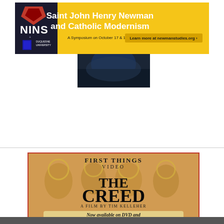[Figure (other): NINS and Duquesne University banner ad for Saint John Henry Newman and Catholic Modernism symposium on October 17 & 18, with link to newmanstudies.org]
[Figure (photo): Dark image strip, appears to be a detail from a painting or illustration with dark sky/clouds]
[Figure (other): First Things Video advertisement for 'The Creed: A Film by Tim Kelleher', showing Byzantine-style icon art with saints, now available on DVD and MP4 digital download]